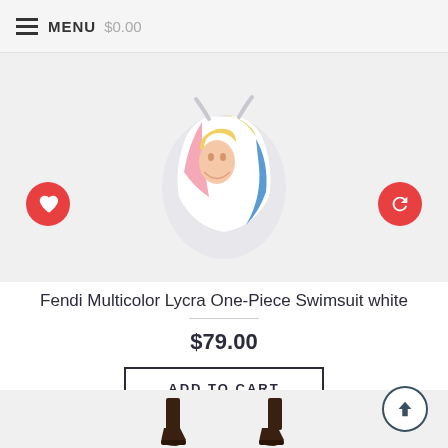MENU  $0.00
[Figure (photo): Product photo of a multicolor Fendi Lycra one-piece swimsuit on white background, with heart/wishlist and refresh/compare red circle buttons overlaid on the image.]
Fendi Multicolor Lycra One-Piece Swimsuit white
$79.00
ADD TO CART
[Figure (photo): Partial product photo at bottom of page showing dark boots, partially cropped.]